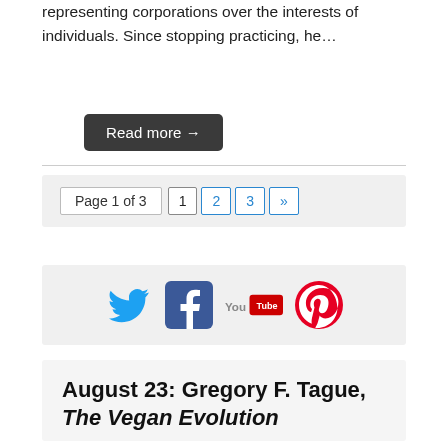representing corporations over the interests of individuals. Since stopping practicing, he…
Read more →
Page 1 of 3  1  2  3  »
[Figure (infographic): Social media icons: Twitter, Facebook, YouTube, Pinterest]
August 23: Gregory F. Tague, The Vegan Evolution